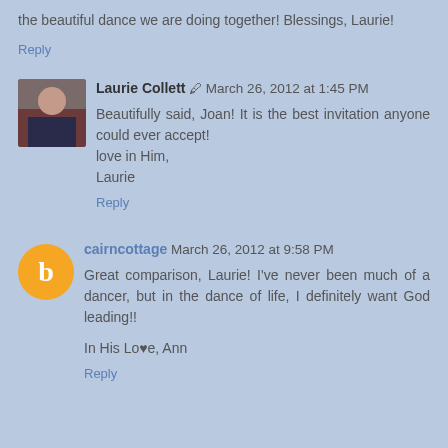the beautiful dance we are doing together! Blessings, Laurie!
Reply
Laurie Collett ✏ March 26, 2012 at 1:45 PM
Beautifully said, Joan! It is the best invitation anyone could ever accept!
love in Him,
Laurie
Reply
cairncottage March 26, 2012 at 9:58 PM
Great comparison, Laurie! I've never been much of a dancer, but in the dance of life, I definitely want God leading!!
In His Lo♥e, Ann
Reply